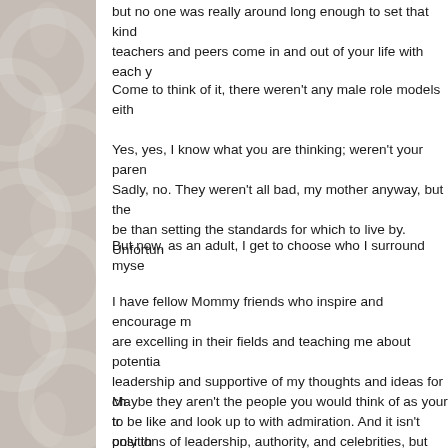but no one was really around long enough to set that kind of example. teachers and peers come in and out of your life with each y
Come to think of it, there weren't any male role models eith
Yes, yes, I know what you are thinking; weren't your paren Sadly, no. They weren't all bad, my mother anyway, but the be than setting the standards for which to live by. Unfortun
But now, as an adult, I get to choose who I surround myse
I have fellow Mommy friends who inspire and encourage m are excelling in their fields and teaching me about potentia leadership and supportive of my thoughts and ideas for ch to be like and look up to with admiration. And it isn't only th really great kids in my extended family too! I look around a think wow… why couldn't I have been more like him/her w
Maybe they aren't the people you would think of as your tr positions of leadership, authority, and celebrities, but they of positivity and success that they make me believe that a are labeled as, these are the people who I want to surroun